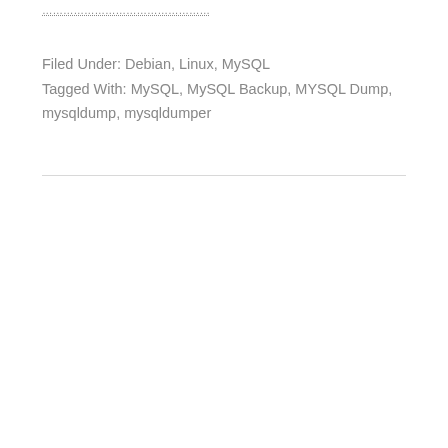Filed Under: Debian, Linux, MySQL
Tagged With: MySQL, MySQL Backup, MYSQL Dump, mysqldump, mysqldumper